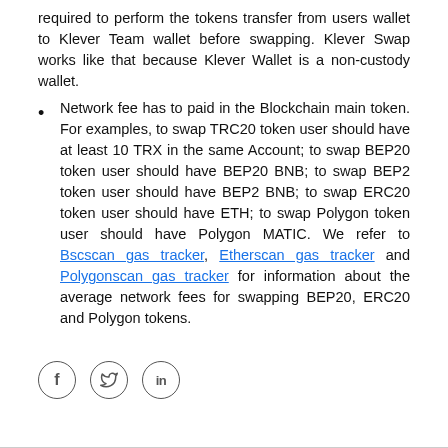required to perform the tokens transfer from users wallet to Klever Team wallet before swapping. Klever Swap works like that because Klever Wallet is a non-custody wallet.
Network fee has to paid in the Blockchain main token. For examples, to swap TRC20 token user should have at least 10 TRX in the same Account; to swap BEP20 token user should have BEP20 BNB; to swap BEP2 token user should have BEP2 BNB; to swap ERC20 token user should have ETH; to swap Polygon token user should have Polygon MATIC. We refer to Bscscan gas tracker, Etherscan gas tracker and Polygonscan gas tracker for information about the average network fees for swapping BEP20, ERC20 and Polygon tokens.
[Figure (other): Three social media icons: Facebook (f), Twitter (bird), LinkedIn (in)]